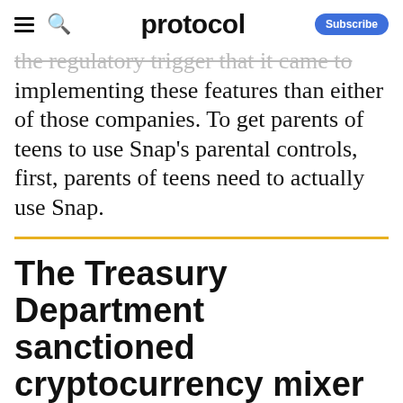protocol
implementing these features than either of those companies. To get parents of teens to use Snap's parental controls, first, parents of teens need to actually use Snap.
The Treasury Department sanctioned cryptocurrency mixer